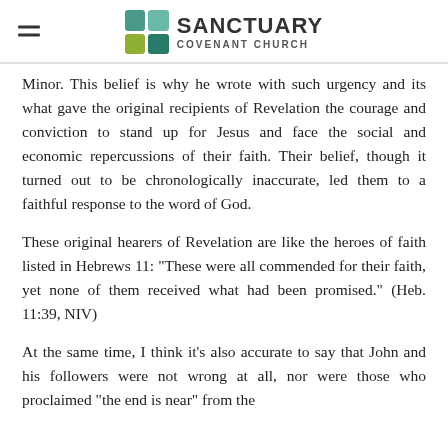Sanctuary Covenant Church
Minor. This belief is why he wrote with such urgency and its what gave the original recipients of Revelation the courage and conviction to stand up for Jesus and face the social and economic repercussions of their faith. Their belief, though it turned out to be chronologically inaccurate, led them to a faithful response to the word of God.
These original hearers of Revelation are like the heroes of faith listed in Hebrews 11: "These were all commended for their faith, yet none of them received what had been promised." (Heb. 11:39, NIV)
At the same time, I think it's also accurate to say that John and his followers were not wrong at all, nor were those who proclaimed "the end is near" from the...